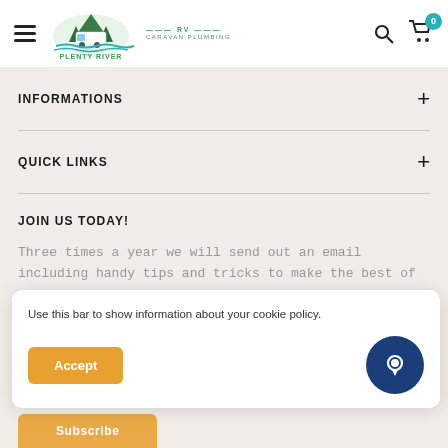Plenty River RV Caravan Plumbing — navigation header with hamburger menu, logo, search and cart icons
INFORMATIONS
QUICK LINKS
JOIN US TODAY!
Three times a year we will send out an email including handy tips and tricks to make the best of your caravanning life!
Use this bar to show information about your cookie policy.
Accept
Subscribe